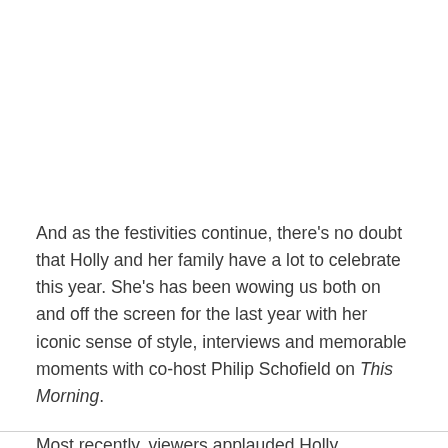And as the festivities continue, there's no doubt that Holly and her family have a lot to celebrate this year. She's has been wowing us both on and off the screen for the last year with her iconic sense of style, interviews and memorable moments with co-host Philip Schofield on This Morning.
Most recently, viewers applauded Holly Willoughby as she blasted an influencer over their Dubai trip and issued an emotional plea about mental health during lockdown.